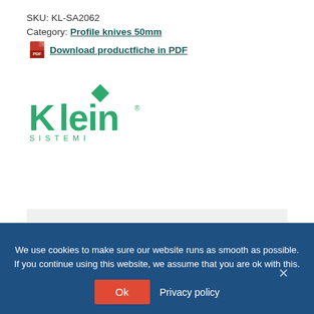SKU: KL-SA2062
Category: Profile knives 50mm
Download productfiche in PDF
[Figure (logo): Klein Sistemi green logo with diamond shape above the 'K']
Main features
Description
We use cookies to make sure our website runs as smooth as possible. If you continue using this website, we assume that you are ok with this.